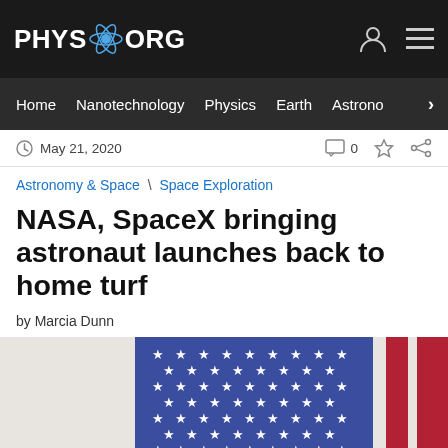PHYS.ORG
Home  Nanotechnology  Physics  Earth  Astronomy >
May 21, 2020   0
Astronomy & Space \ Space Exploration
NASA, SpaceX bringing astronaut launches back to home turf
by Marcia Dunn
[Figure (photo): Partial view of an American flag with blue field of white stars on the left and red and white vertical stripes on the right, draped against a white background.]